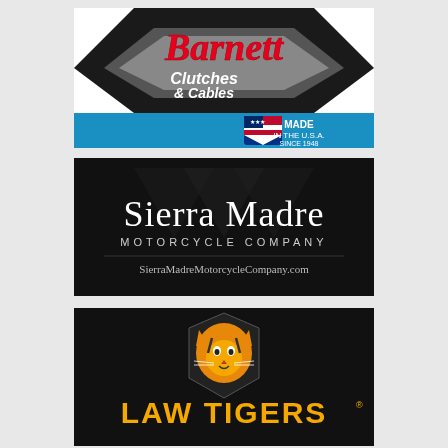[Figure (logo): Barnett Clutches & Cables logo with red script text, black and grey chevron background, blue banner reading 'MADE IN THE U.S.A. SINCE 1948' with American flag shield]
[Figure (logo): Sierra Madre Motorcycle Company logo with white serif text on dark background, website URL SierraMadreMotorcycleCompany.com]
[Figure (logo): Law Tigers logo with orange text on black background and tiger mascot graphic in shield]